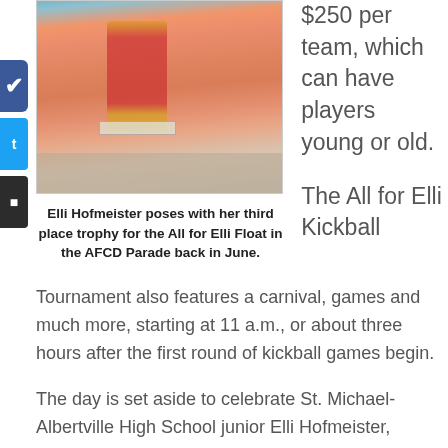[Figure (photo): Woman in pink/coral tank top holding a large red and gold trophy. Indoor setting visible in background.]
Elli Hofmeister poses with her third place trophy for the All for Elli Float in the AFCD Parade back in June.
$250 per team, which can have players young or old.
The All for Elli Kickball
Tournament also features a carnival, games and much more, starting at 11 a.m., or about three hours after the first round of kickball games begin.
The day is set aside to celebrate St. Michael-Albertville High School junior Elli Hofmeister,